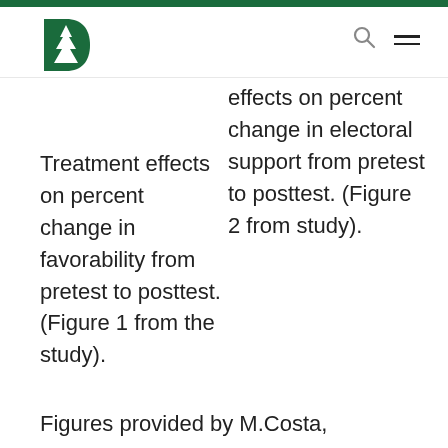Dartmouth College
Treatment effects on percent change in favorability from pretest to posttest. (Figure 1 from the study).
effects on percent change in electoral support from pretest to posttest. (Figure 2 from study).
Figures provided by M.Costa,